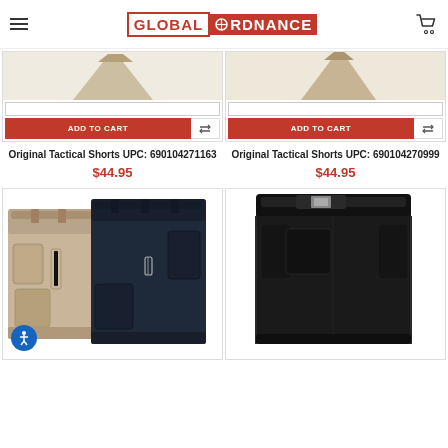Global Ordnance
[Figure (photo): Partial view of khaki tactical shorts product image (top cropped)]
[Figure (photo): Partial view of khaki/tan tactical shorts product image (top cropped)]
ADD TO CART
ADD TO CART
Original Tactical Shorts UPC: 690104271163
$44.95
Original Tactical Shorts UPC: 690104270999
$44.95
[Figure (photo): Two tactical shorts (khaki and navy) folded side by side]
[Figure (photo): Black tactical shorts with belt, shown from side angle]